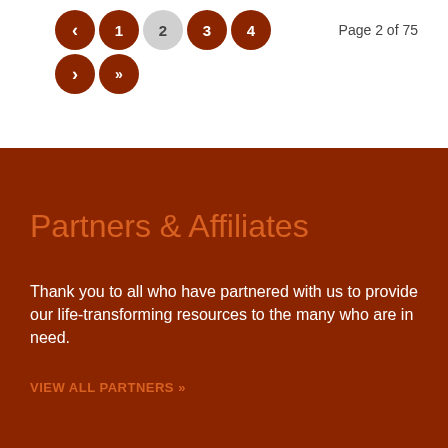Page 2 of 75
[Figure (infographic): Pagination navigation circles: back arrow, pages 1, 2 (active/highlighted), 3, 4, forward arrow, double-forward arrow]
Partners & Affiliates
Thank you to all who have partnered with us to provide our life-transforming resources to the many who are in need.
VIEW ALL PARTNERS »